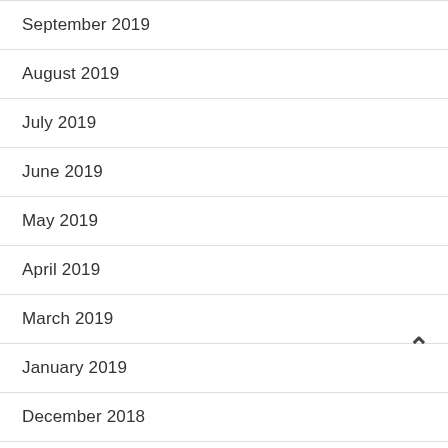September 2019
August 2019
July 2019
June 2019
May 2019
April 2019
March 2019
January 2019
December 2018
November 2018